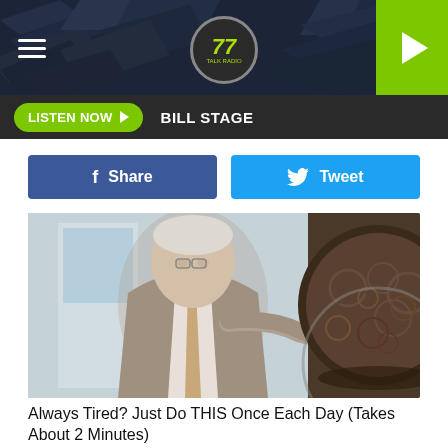[Figure (screenshot): Radio station app header banner with dark blue/grey background and decorative diagonal elements, circular logo in center with '77' text in yellow-green, green play button on far right, hamburger menu icon on left]
LISTEN NOW   BILL STAGE
[Figure (photo): An older man in a grey suit and tie pointing at a large bowl/pot of what appears to be food, set against a hallway background]
Always Tired? Just Do THIS Once Each Day (Takes About 2 Minutes)
Gundry MD